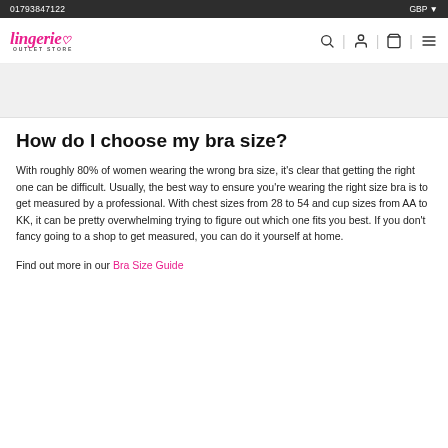01793847122 | GBP
[Figure (logo): Lingerie Outlet Store logo in pink cursive with heart symbol and subtitle OUTLET STORE]
[Figure (illustration): Navigation icons: search, account, cart, and hamburger menu]
[Figure (other): Light grey hero banner area]
How do I choose my bra size?
With roughly 80% of women wearing the wrong bra size, it's clear that getting the right one can be difficult. Usually, the best way to ensure you're wearing the right size bra is to get measured by a professional. With chest sizes from 28 to 54 and cup sizes from AA to KK, it can be pretty overwhelming trying to figure out which one fits you best. If you don't fancy going to a shop to get measured, you can do it yourself at home.
Find out more in our Bra Size Guide